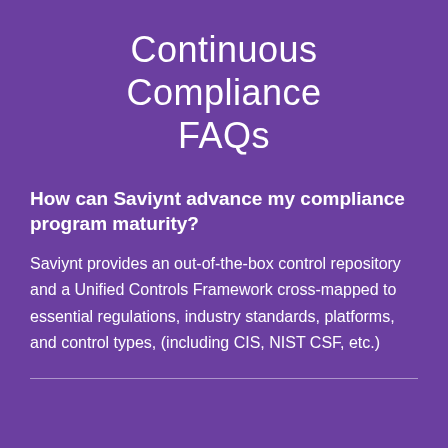Continuous Compliance FAQs
How can Saviynt advance my compliance program maturity?
Saviynt provides an out-of-the-box control repository and a Unified Controls Framework cross-mapped to essential regulations, industry standards, platforms, and control types, (including CIS, NIST CSF, etc.)